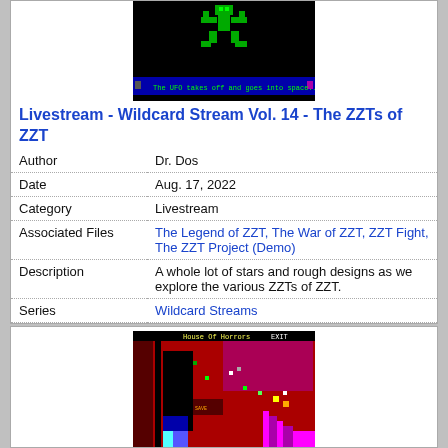[Figure (screenshot): ZZT game screenshot showing a black screen with green pixel art figure and text 'The UFO takes off and goes into space...' at the bottom]
Livestream - Wildcard Stream Vol. 14 - The ZZTs of ZZT
| Author | Dr. Dos |
| Date | Aug. 17, 2022 |
| Category | Livestream |
| Associated Files | The Legend of ZZT, The War of ZZT, ZZT Fight, The ZZT Project (Demo) |
| Description | A whole lot of stars and rough designs as we explore the various ZZTs of ZZT. |
| Series | Wildcard Streams |
[Figure (screenshot): ZZT game screenshot showing 'House Of Horrors EXIT' level with colorful red, purple, black game tiles]